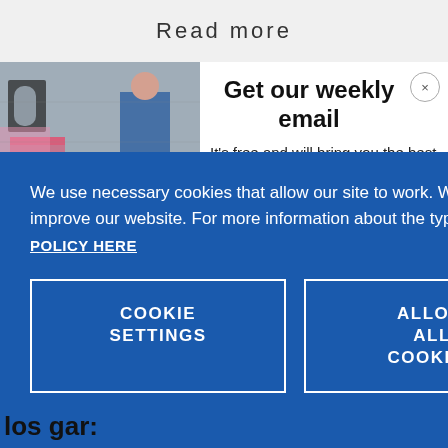Read more
[Figure (photo): Photo of graffiti on a wall with letters visible]
Get our weekly email
It's free and will bring you the best from
We use necessary cookies that allow our site to work. We also set optional cookies that help us improve our website. For more information about the types of cookies we use. READ OUR COOKIES POLICY HERE
COOKIE SETTINGS
ALLOW ALL COOKIES
data.
los gar: